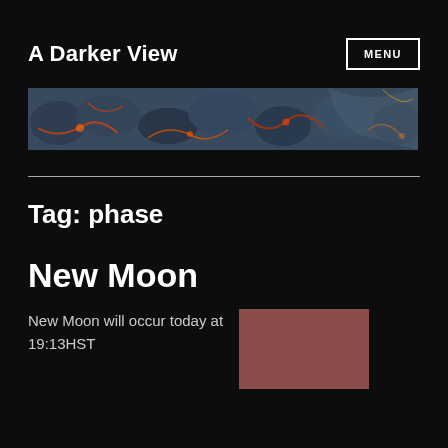A Darker View
[Figure (photo): Horizontal banner image showing dark blue volcanic lava rock texture with glowing orange-red cracks and streaks]
Tag: phase
New Moon
New Moon will occur today at 19:13HST